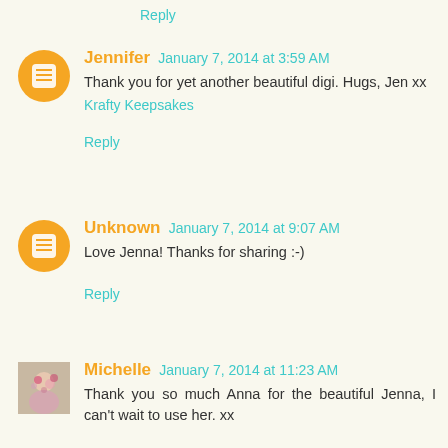Reply
Jennifer  January 7, 2014 at 3:59 AM
Thank you for yet another beautiful digi. Hugs, Jen xx
Krafty Keepsakes
Reply
Unknown  January 7, 2014 at 9:07 AM
Love Jenna! Thanks for sharing :-)
Reply
Michelle  January 7, 2014 at 11:23 AM
Thank you so much Anna for the beautiful Jenna, I can't wait to use her. xx
Reply